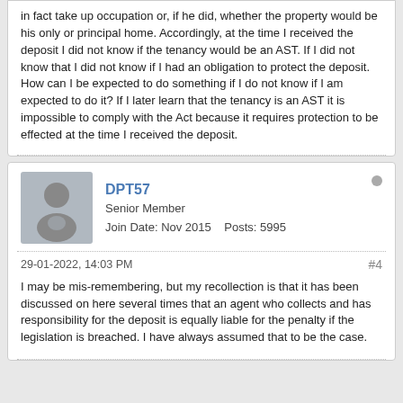in fact take up occupation or, if he did, whether the property would be his only or principal home. Accordingly, at the time I received the deposit I did not know if the tenancy would be an AST. If I did not know that I did not know if I had an obligation to protect the deposit. How can I be expected to do something if I do not know if I am expected to do it? If I later learn that the tenancy is an AST it is impossible to comply with the Act because it requires protection to be effected at the time I received the deposit.
DPT57
Senior Member
Join Date: Nov 2015    Posts: 5995
29-01-2022, 14:03 PM
#4
I may be mis-remembering, but my recollection is that it has been discussed on here several times that an agent who collects and has responsibility for the deposit is equally liable for the penalty if the legislation is breached. I have always assumed that to be the case.